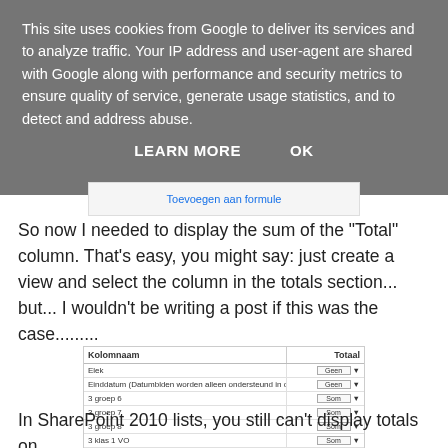This site uses cookies from Google to deliver its services and to analyze traffic. Your IP address and user-agent are shared with Google along with performance and security metrics to ensure quality of service, generate usage statistics, and to detect and address abuse.
LEARN MORE    OK
[Figure (screenshot): Partial screenshot showing 'Toevoegen aan formule' link in a SharePoint interface]
So now I needed to display the sum of the "Total" column. That's easy, you might say: just create a view and select the column in the totals section... but... I wouldn't be writing a post if this was the case.........
[Figure (screenshot): SharePoint column totals settings screenshot showing Kolomnaam and Totaal columns with dropdown options (Geen, Som) for rows including Elek, Einddatum, 3 groep 6, 3 groep 7, 3 groep 8, 3 klas 1 VO, 3 klas 2 VO, Leercentrum, Pr groep 6, Pr groep 7, Pr groep 8, Pr klas 1 VO, Pr klas 2 VO, Startdatum]
In SharePoint 2010 lists, you still can't display totals on